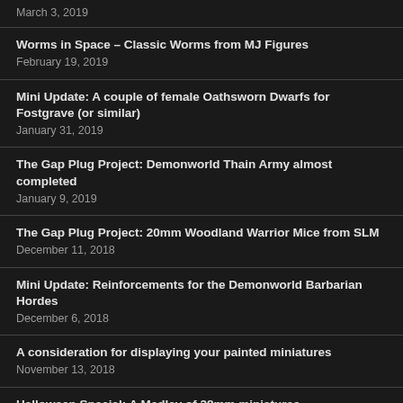March 3, 2019
Worms in Space – Classic Worms from MJ Figures
February 19, 2019
Mini Update: A couple of female Oathsworn Dwarfs for Fostgrave (or similar)
January 31, 2019
The Gap Plug Project: Demonworld Thain Army almost completed
January 9, 2019
The Gap Plug Project: 20mm Woodland Warrior Mice from SLM
December 11, 2018
Mini Update: Reinforcements for the Demonworld Barbarian Hordes
December 6, 2018
A consideration for displaying your painted miniatures
November 13, 2018
Halloween Special: A Medley of 28mm miniatures
November 1, 2018
More Anthropomorphic Woodland Animals from Oathsworn: